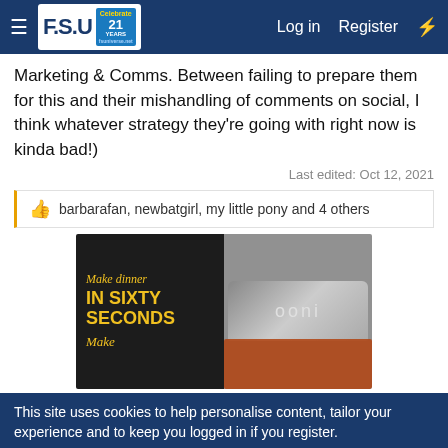FSU 21 Years | Log in | Register
Marketing & Comms. Between failing to prepare them for this and their mishandling of comments on social, I think whatever strategy they're going with right now is kinda bad!)
Last edited: Oct 12, 2021
👍 barbarafan, newbatgirl, my little pony and 4 others
[Figure (photo): Advertisement for Ooni pizza oven: left side shows dark background with yellow text 'Make dinner IN SIXTY SECONDS', right side shows metallic Ooni oven with pizza]
This site uses cookies to help personalise content, tailor your experience and to keep you logged in if you register.
[Figure (other): Advertisement for Dickies workwear: 'Dickies® | Official Site | Workwear & Apparel - for work pants, work shirts, overalls, and coveralls. www.dickies.com']